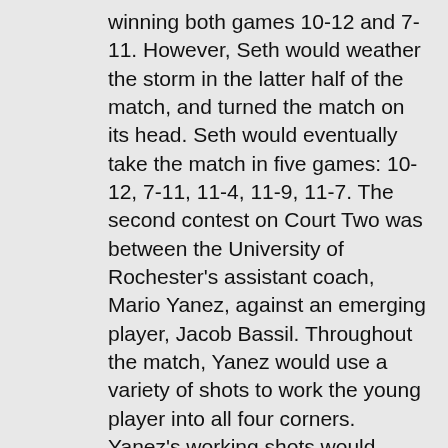winning both games 10-12 and 7-11. However, Seth would weather the storm in the latter half of the match, and turned the match on its head. Seth would eventually take the match in five games: 10-12, 7-11, 11-4, 11-9, 11-7. The second contest on Court Two was between the University of Rochester's assistant coach, Mario Yanez, against an emerging player, Jacob Bassil. Throughout the match, Yanez would use a variety of shots to work the young player into all four corners. Yanez's working shots would prove too much for Bassil. Yanez would advance to the main draw in three games with a score of 11-6, 11-5, and 11-6. The third match came on after the Yanez-Bassil match, and was a contest between Spaniard, Hugo Varela, and Canadian, Brock Janzer. Janzer would put up a fight against the second seed of the qualifiers; however, Varela remained unfazed throughout the